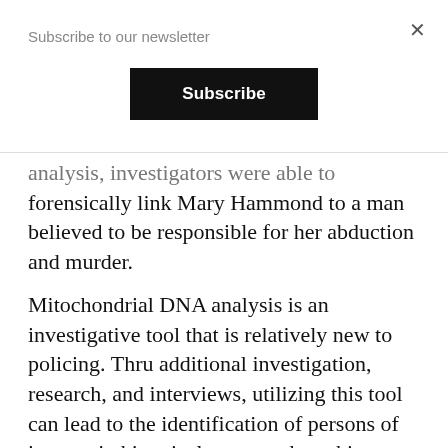Subscribe to our newsletter
Subscribe
analysis, investigators were able to forensically link Mary Hammond to a man believed to be responsible for her abduction and murder.
Mitochondrial DNA analysis is an investigative tool that is relatively new to policing. Thru additional investigation, research, and interviews, utilizing this tool can lead to the identification of persons of interest in historical cases such as this.